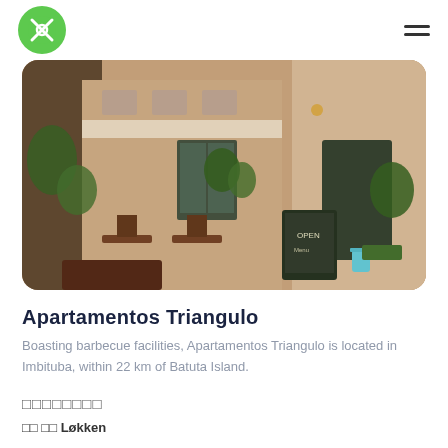Logo and navigation header
[Figure (photo): Outdoor restaurant/cafe terrace with tables, chairs, plants, a chalkboard menu sign, and European-style building facade]
Apartamentos Triangulo
Boasting barbecue facilities, Apartamentos Triangulo is located in Imbituba, within 22 km of Batuta Island.
□□□□□□□□
□□ □□ Løkken